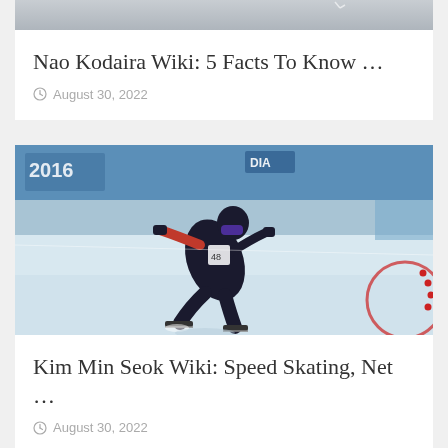[Figure (photo): Partial view of a speed skater, cropped at top – likely Nao Kodaira]
Nao Kodaira Wiki: 5 Facts To Know …
August 30, 2022
[Figure (photo): Speed skater Kim Min Seok in a black suit racing on ice at a 2016 event, leaning forward in a low crouch position with purple goggles]
Kim Min Seok Wiki: Speed Skating, Net …
August 30, 2022